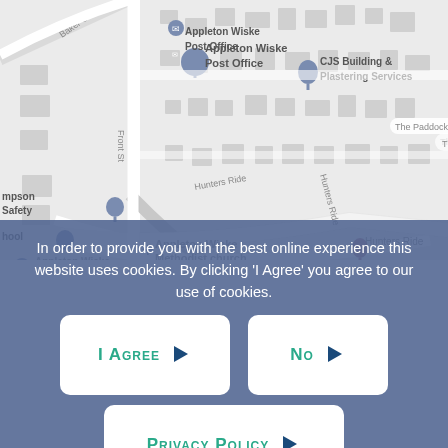[Figure (map): Google Maps screenshot showing Appleton Wiske area with streets: Baker St, Front St, Hunters Ride. Landmarks: Appleton Wiske Post Office, CJS Building & Plastering Services, The Paddock, mpson Safety, hool, Appleton Wiske Methodist church, Appleton Wiske Village Hall.]
In order to provide you with the best online experience this website uses cookies. By clicking 'I Agree' you agree to our use of cookies.
I Agree
No
Privacy Policy